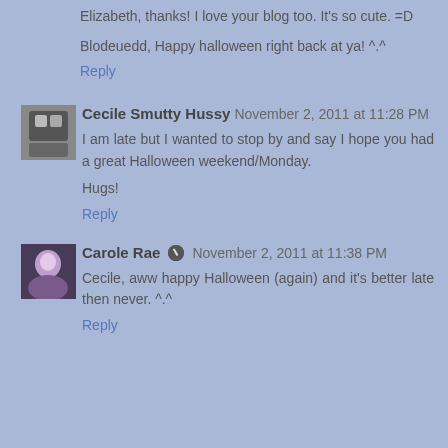Elizabeth, thanks! I love your blog too. It's so cute. =D
Blodeuedd, Happy halloween right back at ya! ^.^
Reply
Cecile Smutty Hussy  November 2, 2011 at 11:28 PM
I am late but I wanted to stop by and say I hope you had a great Halloween weekend/Monday.

Hugs!
Reply
Carole Rae  November 2, 2011 at 11:38 PM
Cecile, aww happy Halloween (again) and it's better late then never. ^.^
Reply